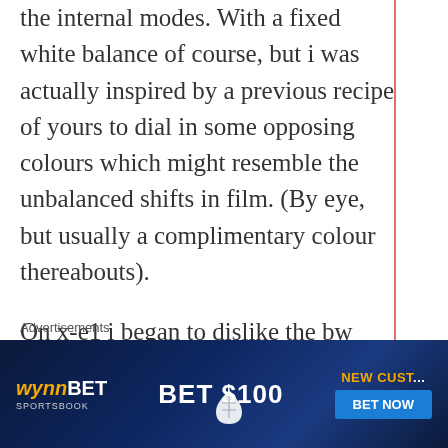the internal modes. With a fixed white balance of course, but i was actually inspired by a previous recipe of yours to dial in some opposing colours which might resemble the unbalanced shifts in film. (By eye, but usually a complimentary colour thereabouts).
On x-e1 i began to dislike the bw filter modes because the histogram started doing strange things (a peak before the edge suggesting one colour clipped), as well as a few strange
Advertisements
[Figure (other): WynnBET Sportsbook advertisement banner with 'BET $100' offer and 'NEW CUST... BET NOW' call to action on dark blue background]